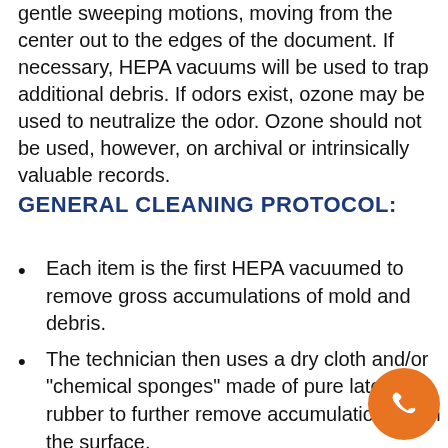gentle sweeping motions, moving from the center out to the edges of the document. If necessary, HEPA vacuums will be used to trap additional debris. If odors exist, ozone may be used to neutralize the odor. Ozone should not be used, however, on archival or intrinsically valuable records.
GENERAL CLEANING PROTOCOL:
Each item is the first HEPA vacuumed to remove gross accumulations of mold and debris.
The technician then uses a dry cloth and/or "chemical sponges" made of pure latex rubber to further remove accumulations from the surface.
If books are damaged, the spine and fore-edge may be accessed and cleaned with a bottle brush or dr...